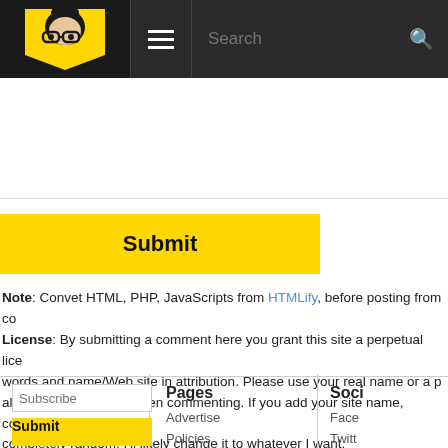[Figure (screenshot): Website navigation header with logo (person with glasses wearing a yellow badge), hamburger menu icon, and search bar on dark background]
Submit
Note: Convet HTML, PHP, JavaScripts from HTMLify, before posting from co
License: By submitting a comment here you grant this site a perpetual lice words and name/Web site in attribution. Please use your real name or a p alias, nom de plume) when commenting. If you add your site name, compa completely random, I'll likely change it to whatever I want.
Subscribe
Submit
Pages
Advertise
Policies
Services
Soci
Face
Twitt
YouT